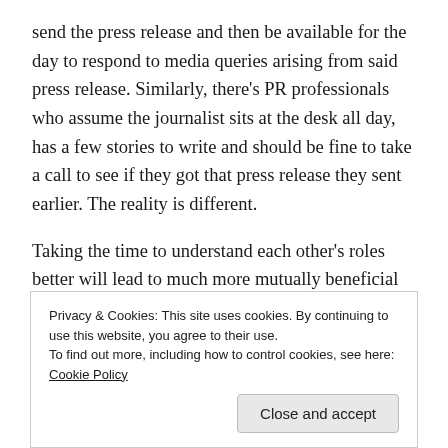send the press release and then be available for the day to respond to media queries arising from said press release. Similarly, there's PR professionals who assume the journalist sits at the desk all day, has a few stories to write and should be fine to take a call to see if they got that press release they sent earlier. The reality is different.
Taking the time to understand each other's roles better will lead to much more mutually beneficial relationships. At its most simple level, knowing when is the optimal time to send your announcement allows
Privacy & Cookies: This site uses cookies. By continuing to use this website, you agree to their use.
To find out more, including how to control cookies, see here: Cookie Policy
Close and accept